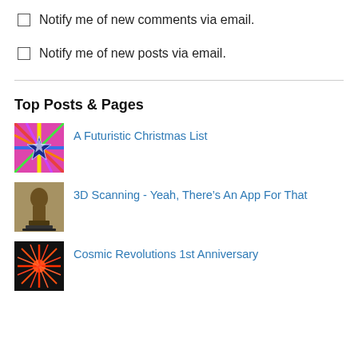Notify me of new comments via email.
Notify me of new posts via email.
Top Posts & Pages
[Figure (photo): Colorful Christmas bow/star decoration with pink, blue and multicolor ribbons]
A Futuristic Christmas List
[Figure (photo): Stone or bronze sculpture/statue image]
3D Scanning - Yeah, There’s An App For That
[Figure (photo): Fireworks or starburst explosion image]
Cosmic Revolutions 1st Anniversary